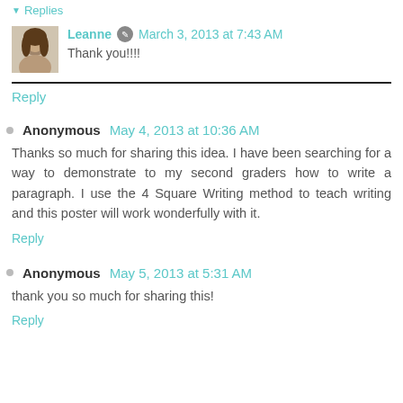Replies
Leanne  March 3, 2013 at 7:43 AM
Thank you!!!!
Reply
Anonymous  May 4, 2013 at 10:36 AM
Thanks so much for sharing this idea. I have been searching for a way to demonstrate to my second graders how to write a paragraph. I use the 4 Square Writing method to teach writing and this poster will work wonderfully with it.
Reply
Anonymous  May 5, 2013 at 5:31 AM
thank you so much for sharing this!
Reply